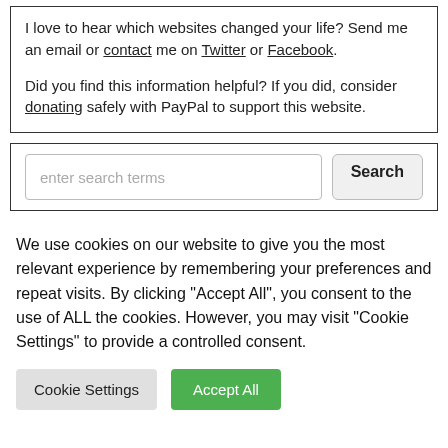I love to hear which websites changed your life? Send me an email or contact me on Twitter or Facebook.
Did you find this information helpful? If you did, consider donating safely with PayPal to support this website.
[Figure (screenshot): Search box with placeholder text 'enter search terms' and a Search button]
We use cookies on our website to give you the most relevant experience by remembering your preferences and repeat visits. By clicking "Accept All", you consent to the use of ALL the cookies. However, you may visit "Cookie Settings" to provide a controlled consent.